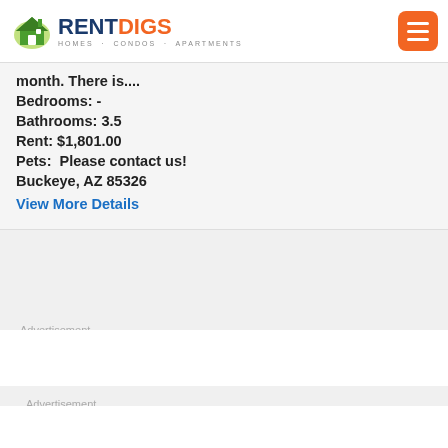[Figure (logo): RentDigs logo with house icon and text RENT DIGS HOMES · CONDOS · APARTMENTS]
month. There is....
Bedrooms: -
Bathrooms: 3.5
Rent: $1,801.00
Pets:  Please contact us!
Buckeye, AZ 85326
View More Details
Advertisement
Advertisement